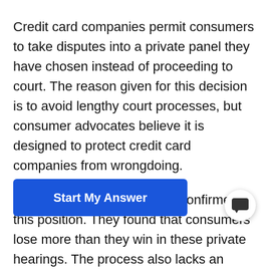Credit card companies permit consumers to take disputes into a private panel they have chosen instead of proceeding to court. The reason given for this decision is to avoid lengthy court processes, but consumer advocates believe it is designed to protect credit card companies from wrongdoing.
A CFPB study on arbitration confirmed this position. They found that consumers lose more than they win in these private hearings. The process also lacks an appeal provision, and the consumer protections laws.